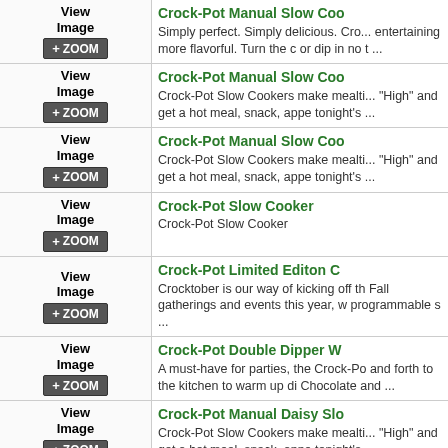Crock-Pot Manual Slow Coo... - Simply perfect. Simply delicious. Cro... entertaining more flavorful. Turn the or dip in no t ...
Crock-Pot Manual Slow Coo... - Crock-Pot Slow Cookers make mealti... "High" and get a hot meal, snack, appe tonight's ...
Crock-Pot Manual Slow Coo... - Crock-Pot Slow Cookers make mealti... "High" and get a hot meal, snack, appe tonight's ...
Crock-Pot Slow Cooker - Crock-Pot Slow Cooker
Crock-Pot Limited Editon C... - Crocktober is our way of kicking off th Fall gatherings and events this year, w programmable s ...
Crock-Pot Double Dipper W... - A must-have for parties, the Crock-Po and forth to the kitchen to warm up di Chocolate and ...
Crock-Pot Manual Daisy Slo... - Crock-Pot Slow Cookers make mealti... "High" and get a hot meal, snack, appe tonight's ...
Crock-Pot Manual Slow Coo... - Crock-Pot Slow Cookers make mealti... "High" and get a hot meal, snack, appe tonight's ...
Crock-Pot Create-A-Crock S...